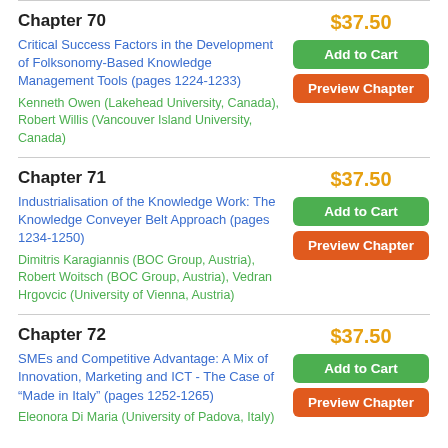Chapter 70
Critical Success Factors in the Development of Folksonomy-Based Knowledge Management Tools (pages 1224-1233)
Kenneth Owen (Lakehead University, Canada), Robert Willis (Vancouver Island University, Canada)
$37.50
Add to Cart
Preview Chapter
Chapter 71
Industrialisation of the Knowledge Work: The Knowledge Conveyer Belt Approach (pages 1234-1250)
Dimitris Karagiannis (BOC Group, Austria), Robert Woitsch (BOC Group, Austria), Vedran Hrgovcic (University of Vienna, Austria)
$37.50
Add to Cart
Preview Chapter
Chapter 72
SMEs and Competitive Advantage: A Mix of Innovation, Marketing and ICT - The Case of “Made in Italy” (pages 1252-1265)
$37.50
Add to Cart
Preview Chapter
Eleonora Di Maria (University of Padova, Italy)